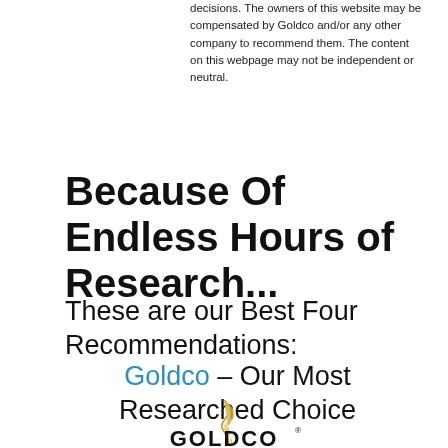decisions. The owners of this website may be compensated by Goldco and/or any other company to recommend them. The content on this webpage may not be independent or neutral.
Because Of Endless Hours of Research...
These are our Best Four Recommendations:
Goldco – Our Most Researched Choice
[Figure (logo): Goldco logo with golden feather/flame icon above bold black GOLDCO text with registered trademark symbol]